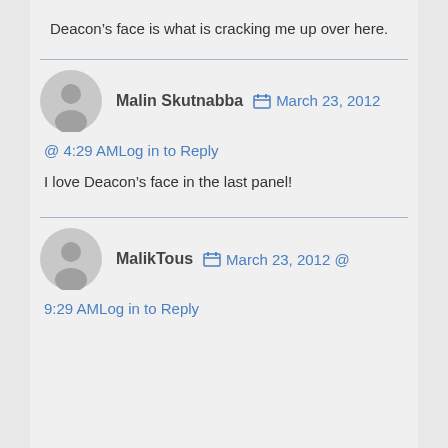Deacon's face is what is cracking me up over here.
Malin Skutnabba  March 23, 2012 @ 4:29 AMLog in to Reply
I love Deacon's face in the last panel!
MalikTous  March 23, 2012 @ 9:29 AMLog in to Reply